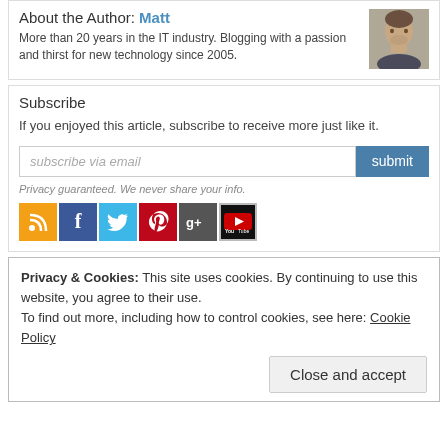About the Author: Matt
More than 20 years in the IT industry. Blogging with a passion and thirst for new technology since 2005.
[Figure (photo): Headshot photo of author Matt]
Subscribe
If you enjoyed this article, subscribe to receive more just like it.
subscribe via email [input] submit
Privacy guaranteed. We never share your info.
[Figure (infographic): Social media icons: RSS, Facebook, Twitter, Pinterest, Google+, YouTube]
Privacy & Cookies: This site uses cookies. By continuing to use this website, you agree to their use.
To find out more, including how to control cookies, see here: Cookie Policy
Close and accept